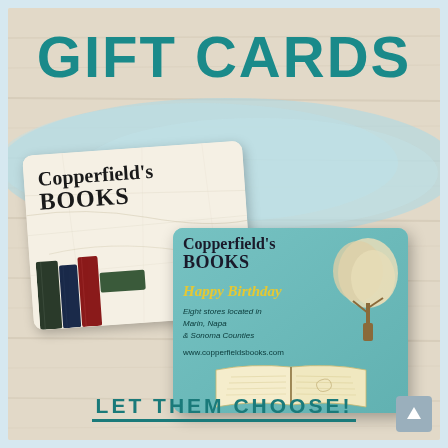GIFT CARDS
[Figure (photo): Two Copperfield's Books gift cards displayed on a wood-textured background with a light blue watercolor splash. The back card is cream/map-themed with book spines. The front card is teal with 'Happy Birthday', store info, a tree illustration, and an open book.]
LET THEM CHOOSE!